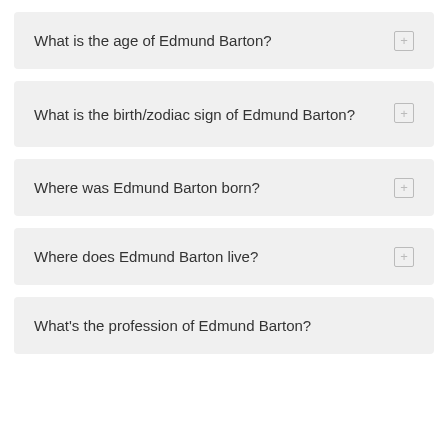What is the age of Edmund Barton?
What is the birth/zodiac sign of Edmund Barton?
Where was Edmund Barton born?
Where does Edmund Barton live?
What's the profession of Edmund Barton?